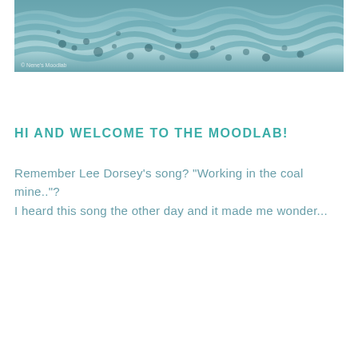[Figure (photo): Close-up photo of teal/blue-tinted fabric or textile with a ruffled, layered appearance. The fabric has a translucent, gauzy texture with dark spotted or dotted patterns. A small watermark reads '© Nene's Moodlab' in the lower-left corner.]
HI AND WELCOME TO THE MOODLAB!
Remember Lee Dorsey's song? "Working in the coal mine.."?
I heard this song the other day and it made me wonder...